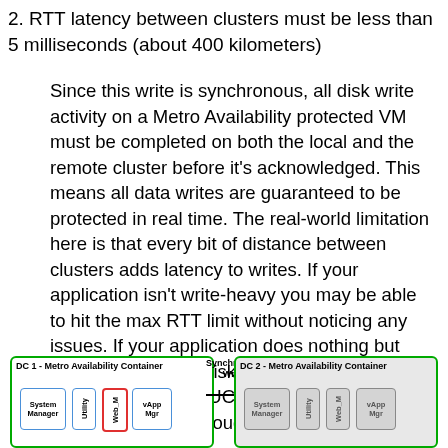2. RTT latency between clusters must be less than 5 milliseconds (about 400 kilometers)
Since this write is synchronous, all disk write activity on a Metro Availability protected VM must be completed on both the local and the remote cluster before it's acknowledged. This means all data writes are guaranteed to be protected in real time. The real-world limitation here is that every bit of distance between clusters adds latency to writes. If your application isn't write-heavy you may be able to hit the max RTT limit without noticing any issues. If your application does nothing but write constantly to disk, 400km may need to be re-evaluated. Most UC machines are generally not disk intensive though. Lucky you!
[Figure (infographic): Diagram showing DC 1 Metro Availability Container (with System Manager, Utility, Web_M, vApp Mgr VMs) connected via Synchronous Write arrow to DC 2 Metro Availability Container (with greyed-out System Manager, Utility, Web_M, vApp Mgr VMs)]